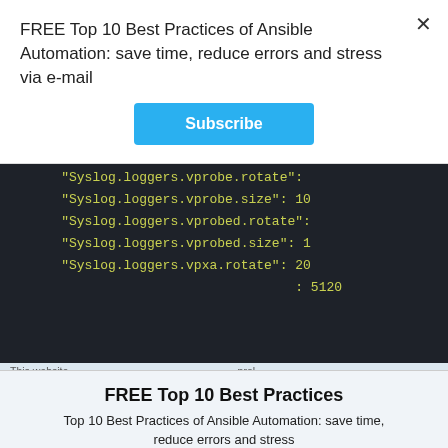FREE Top 10 Best Practices of Ansible Automation: save time, reduce errors and stress via e-mail
Subscribe
[Figure (screenshot): Dark-themed code block showing JSON-like configuration lines with yellow-green monospace text on dark background. Lines include: "Syslog.loggers.vprobe.rotate":, "Syslog.loggers.vprobe.size": 1, "Syslog.loggers.vprobed.rotate":, "Syslog.loggers.vprobed.size": 1, "Syslog.loggers.vpxa.rotate": 20, : 5120]
FREE Top 10 Best Practices
Top 10 Best Practices of Ansible Automation: save time, reduce errors and stress
Find out more
close